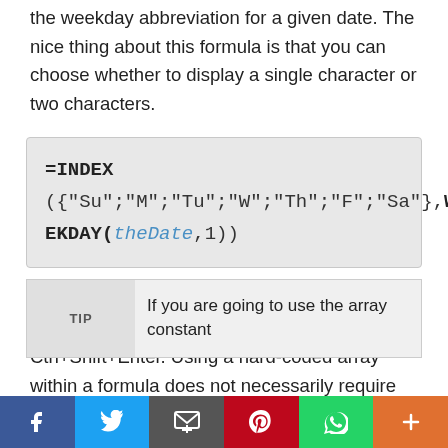the weekday abbreviation for a given date. The nice thing about this formula is that you can choose whether to display a single character or two characters.
This formula is not technically an Array Formula because you don't enter it using Ctrl+Shift+Enter. Using a hard-coded array within a formula does not necessarily require using Ctrl+Shift+Enter.
TIP  If you are going to use the array constant